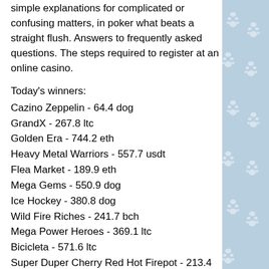simple explanations for complicated or confusing matters, in poker what beats a straight flush. Answers to frequently asked questions. The steps required to register at an online casino.
Today's winners:
Cazino Zeppelin - 64.4 dog
GrandX - 267.8 ltc
Golden Era - 744.2 eth
Heavy Metal Warriors - 557.7 usdt
Flea Market - 189.9 eth
Mega Gems - 550.9 dog
Ice Hockey - 380.8 dog
Wild Fire Riches - 241.7 bch
Mega Power Heroes - 369.1 ltc
Bicicleta - 571.6 ltc
Super Duper Cherry Red Hot Firepot - 213.4 ltc
Green Grocery - 330.5 eth
Supe It Up - 227.3 bch
Sevens High - 495.3 dog